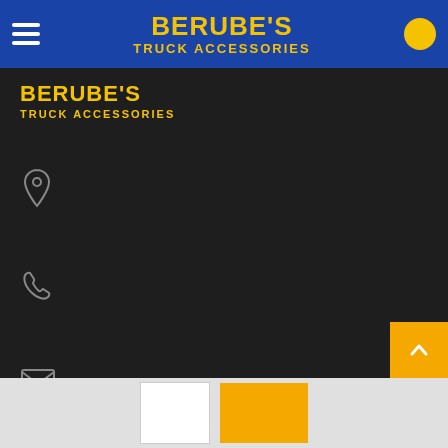BERUBE'S TRUCK ACCESSORIES — navigation bar with hamburger menu and circle icon
[Figure (logo): Berube's Truck Accessories logo in yellow on dark background]
[Figure (infographic): Contact section with location pin icon, phone icon, and envelope/mail icon on dark background]
[Figure (other): Back to top button (orange, arrow up) and pagination thumbnails (white and orange squares) at bottom]